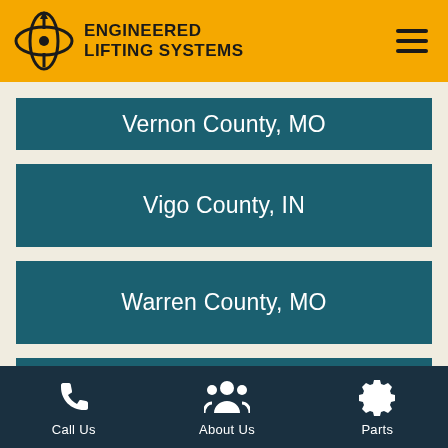ENGINEERED LIFTING SYSTEMS
Vernon County, MO
Vigo County, IN
Warren County, MO
Warrenton, MO
Warrick County, IN
Call Us  About Us  Parts